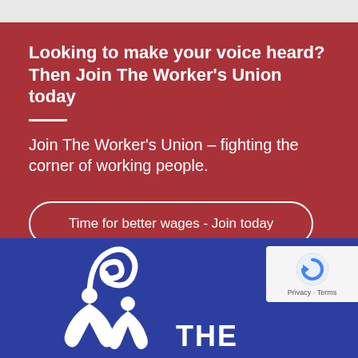Looking to make your voice heard? Then Join The Worker's Union today
Join The Worker's Union – fighting the corner of working people.
Time for better wages - Join today
[Figure (logo): The Worker's Union logo with stylized human figures on blue background]
Privacy · Terms